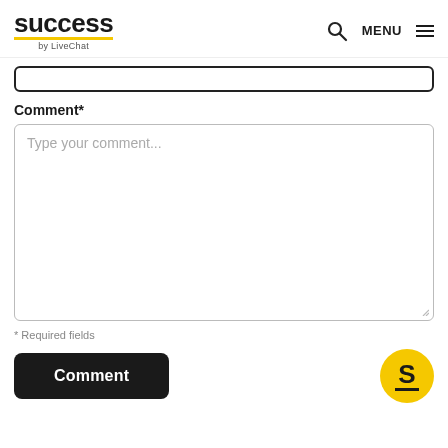success by LiveChat | MENU
Comment*
Type your comment...
* Required fields
Comment